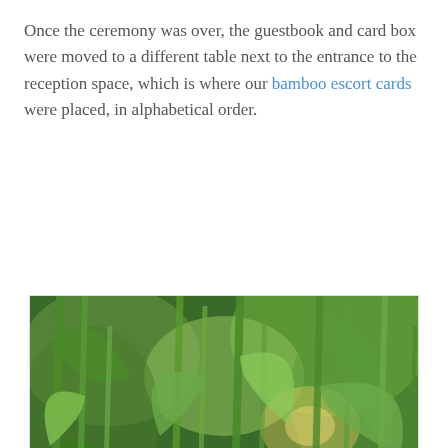Once the ceremony was over, the guestbook and card box were moved to a different table next to the entrance to the reception space, which is where our bamboo escort cards were placed, in alphabetical order.
[Figure (photo): Close-up photo of bamboo escort cards placed among lush green plant stems and small glass containers with orange contents on a white table surface]